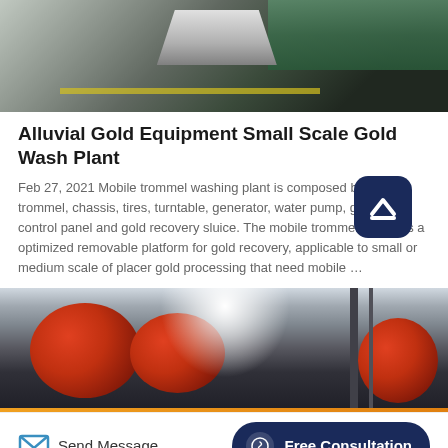[Figure (photo): Top partial image of industrial equipment on a factory floor, showing a white/grey angled object, dark floor with yellow stripe, and green/teal pool or surface in the background.]
Alluvial Gold Equipment Small Scale Gold Wash Plant
Feb 27, 2021 Mobile trommel washing plant is composed by hopper, trommel, chassis, tires, turntable, generator, water pump, gearing, control panel and gold recovery sluice. The mobile trommel screen is a optimized removable platform for gold recovery, applicable to small or medium scale of placer gold processing that need mobile …
[Figure (photo): Bottom partial image of a factory interior with large red cylindrical drums/mills, bright overhead light, and metal structural supports in the background.]
Send Message
Free Consultation